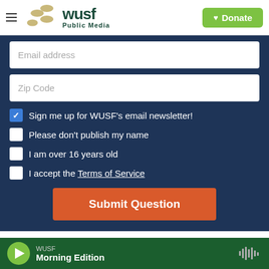[Figure (logo): WUSF Public Media logo with hamburger menu and Donate button]
Email address
Zip Code
Sign me up for WUSF's email newsletter! (checked)
Please don't publish my name (unchecked)
I am over 16 years old (unchecked)
I accept the Terms of Service (unchecked)
Submit Question
This project is part of America Amplified.
WUSF Morning Edition